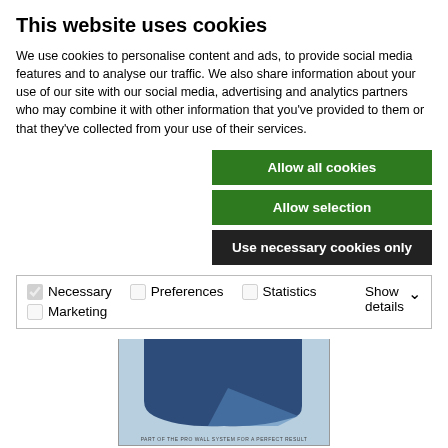This website uses cookies
We use cookies to personalise content and ads, to provide social media features and to analyse our traffic. We also share information about your use of our site with our social media, advertising and analytics partners who may combine it with other information that you've provided to them or that they've collected from your use of their services.
Allow all cookies
Allow selection
Use necessary cookies only
Necessary  Preferences  Statistics  Marketing  Show details
[Figure (photo): Product image showing a blue component labeled as part of the PRO WALL SYSTEM FOR A PERFECT RESULT]